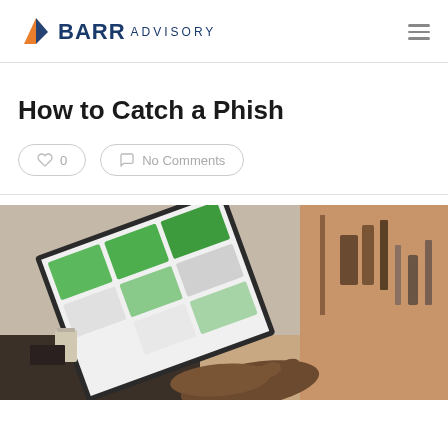BARR ADVISORY
How to Catch a Phish
♡ 0   No Comments
[Figure (photo): Person using a laptop computer with colorful tiles on the screen, viewed from an angle, in a home/kitchen setting]